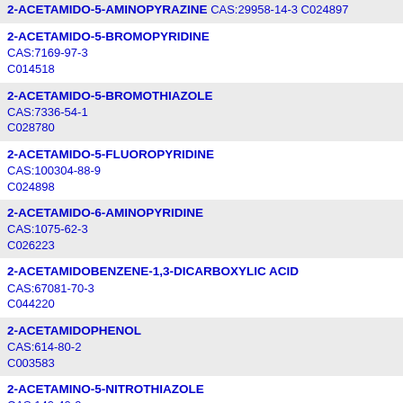2-ACETAMIDO-5-AMINOPYRAZINE
CAS:29958-14-3
C024897
2-ACETAMIDO-5-BROMOPYRIDINE
CAS:7169-97-3
C014518
2-ACETAMIDO-5-BROMOTHIAZOLE
CAS:7336-54-1
C028780
2-ACETAMIDO-5-FLUOROPYRIDINE
CAS:100304-88-9
C024898
2-ACETAMIDO-6-AMINOPYRIDINE
CAS:1075-62-3
C026223
2-ACETAMIDOBENZENE-1,3-DICARBOXYLIC ACID
CAS:67081-70-3
C044220
2-ACETAMIDOPHENOL
CAS:614-80-2
C003583
2-ACETAMINO-5-NITROTHIAZOLE
CAS:140-40-9
C028778
2-ACETAMINOTHIAZOLE
CAS:2719-23-5
C028779
2-ACETONAPHTHANONE
CAS:93-08-3
C000706